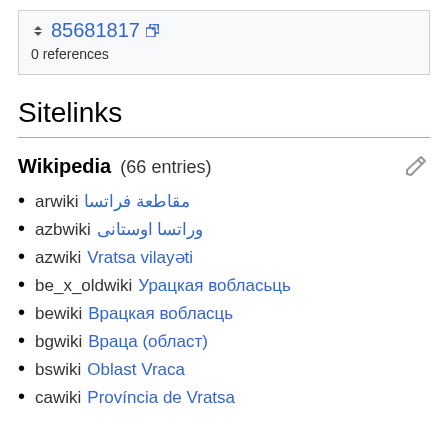85681817 0 references
Sitelinks
Wikipedia (66 entries)
arwiki مقاطعة فراتسا
azbwiki وراتسا اوستانی
azwiki Vratsa vilayəti
be_x_oldwiki Урацкая вобласьць
bewiki Врацкая вобласць
bgwiki Враца (област)
bswiki Oblast Vraca
cawiki Província de Vratsa